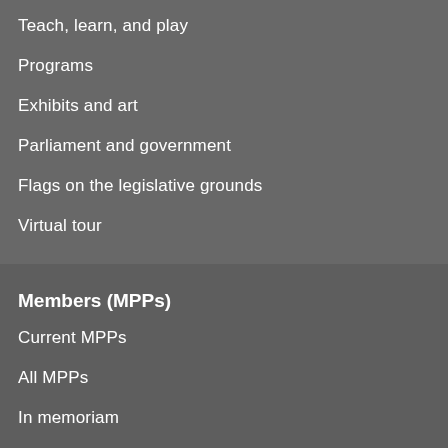Teach, learn, and play
Programs
Exhibits and art
Parliament and government
Flags on the legislative grounds
Virtual tour
Members (MPPs)
Current MPPs
All MPPs
In memoriam
Legislation